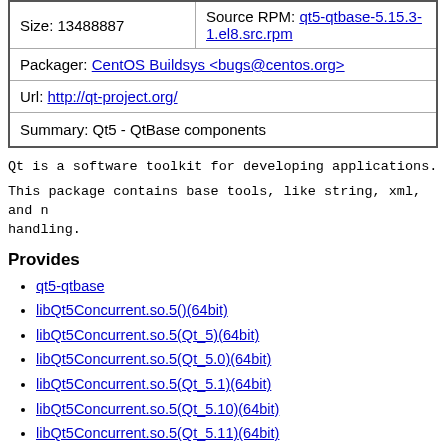| Size: 13488887 | Source RPM: qt5-qtbase-5.15.3-1.el8.src.rpm |
| Packager: CentOS Buildsys <bugs@centos.org> |  |
| Url: http://qt-project.org/ |  |
| Summary: Qt5 - QtBase components |  |
Qt is a software toolkit for developing applications.
This package contains base tools, like string, xml, and network handling.
Provides
qt5-qtbase
libQt5Concurrent.so.5()(64bit)
libQt5Concurrent.so.5(Qt_5)(64bit)
libQt5Concurrent.so.5(Qt_5.0)(64bit)
libQt5Concurrent.so.5(Qt_5.1)(64bit)
libQt5Concurrent.so.5(Qt_5.10)(64bit)
libQt5Concurrent.so.5(Qt_5.11)(64bit)
libQt5Concurrent.so.5(Qt_5.12)(64bit)